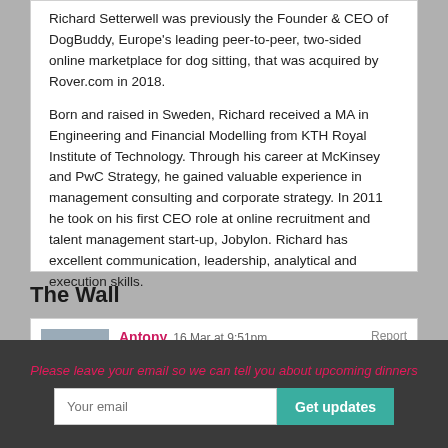Richard Setterwell was previously the Founder & CEO of DogBuddy, Europe's leading peer-to-peer, two-sided online marketplace for dog sitting, that was acquired by Rover.com in 2018.
Born and raised in Sweden, Richard received a MA in Engineering and Financial Modelling from KTH Royal Institute of Technology. Through his career at McKinsey and PwC Strategy, he gained valuable experience in management consulting and corporate strategy. In 2011 he took on his first CEO role at online recruitment and talent management start-up, Jobylon. Richard has excellent communication, leadership, analytical and execution skills.
The Wall
Antony 16 Mar at 9:51pm
All, Apologies I did not join you this evening. I had a AZ vaccination and I had me on the
Please leave your email so we can tell you about upcoming dinners